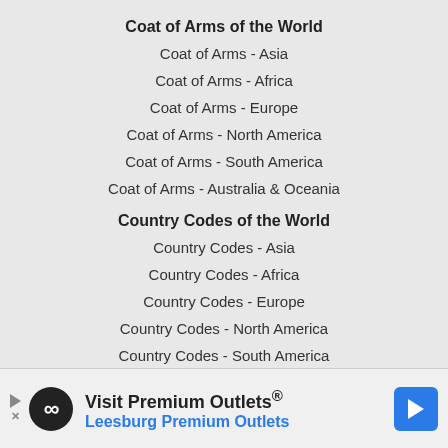Coat of Arms of the World
Coat of Arms - Asia
Coat of Arms - Africa
Coat of Arms - Europe
Coat of Arms - North America
Coat of Arms - South America
Coat of Arms - Australia & Oceania
Country Codes of the World
Country Codes - Asia
Country Codes - Africa
Country Codes - Europe
Country Codes - North America
Country Codes - South America
Country Codes - Australia & Oceania
Languages of the World
Asian Languages
African Languages
European Languages
Visit Premium Outlets® Leesburg Premium Outlets